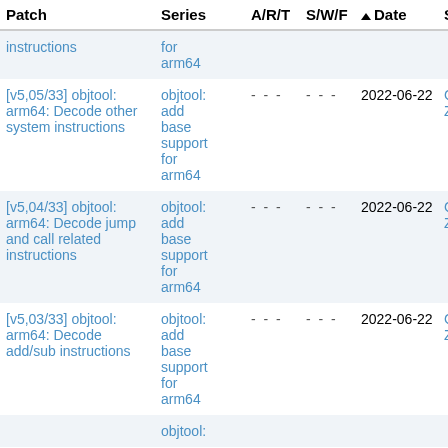| Patch | Series | A/R/T | S/W/F | Date | Sub |
| --- | --- | --- | --- | --- | --- |
| instructions | for arm64 | - - - | - - - |  |  |
| [v5,05/33] objtool: arm64: Decode other system instructions | objtool: add base support for arm64 | - - - | - - - | 2022-06-22 | Chen Zhon |
| [v5,04/33] objtool: arm64: Decode jump and call related instructions | objtool: add base support for arm64 | - - - | - - - | 2022-06-22 | Chen Zhon |
| [v5,03/33] objtool: arm64: Decode add/sub instructions | objtool: add base support for arm64 | - - - | - - - | 2022-06-22 | Chen Zhon |
|  | objtool: |  |  |  |  |